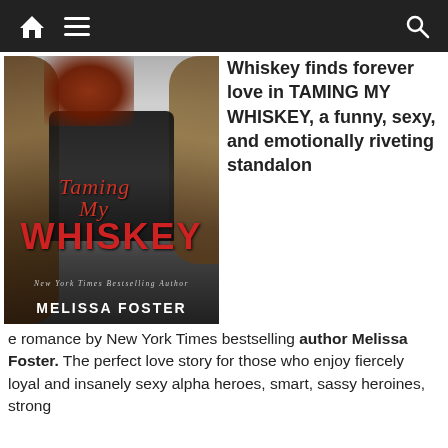Navigation bar with home, menu, and search icons
[Figure (photo): Book cover of 'Taming My Whiskey' by Melissa Foster (New York Times Bestselling Author). Shows a woman with red hair in a black lace outfit with a tattooed person behind her. Title 'Taming My Whiskey' in red script and block letters.]
Whiskey finds forever love in TAMING MY WHISKEY, a funny, sexy, and emotionally riveting standalone romance by New York Times bestselling author Melissa Foster. The perfect love story for those who enjoy fiercely loyal and insanely sexy alpha heroes, smart, sassy heroines, strong
Taming My Whiskey by Melissa Foster